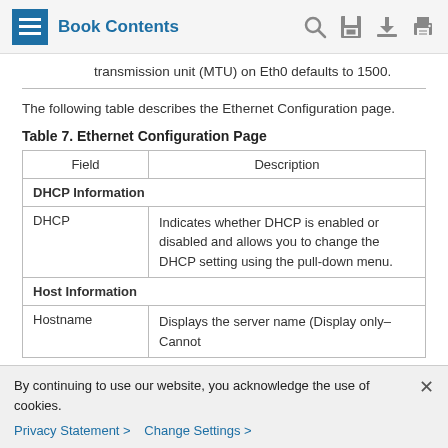Book Contents
transmission unit (MTU) on Eth0 defaults to 1500.
The following table describes the Ethernet Configuration page.
Table 7. Ethernet Configuration Page
| Field | Description |
| --- | --- |
| DHCP Information |  |
| DHCP | Indicates whether DHCP is enabled or disabled and allows you to change the DHCP setting using the pull-down menu. |
| Host Information |  |
| Hostname | Displays the server name (Display only–Cannot |
By continuing to use our website, you acknowledge the use of cookies.
Privacy Statement > Change Settings >